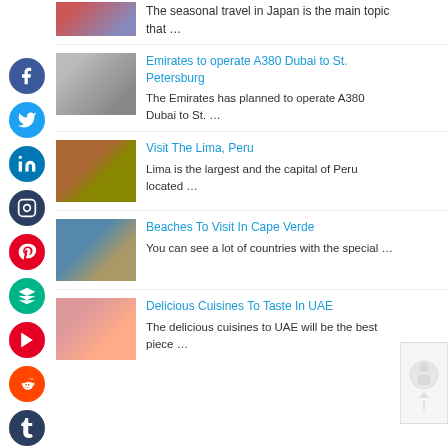The seasonal travel in Japan is the main topic that …
Emirates to operate A380 Dubai to St. Petersburg
The Emirates has planned to operate A380 Dubai to St. …
Visit The Lima, Peru
Lima is the largest and the capital of Peru located …
Beaches To Visit In Cape Verde
You can see a lot of countries with the special …
Delicious Cuisines To Taste In UAE
The delicious cuisines to UAE will be the best piece …